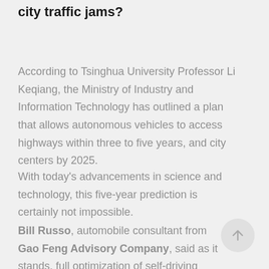city traffic jams?
According to Tsinghua University Professor Li Keqiang, the Ministry of Industry and Information Technology has outlined a plan that allows autonomous vehicles to access highways within three to five years, and city centers by 2025.
With today's advancements in science and technology, this five-year prediction is certainly not impossible.
Bill Russo, automobile consultant from Gao Feng Advisory Company, said as it stands, full optimization of self-driving